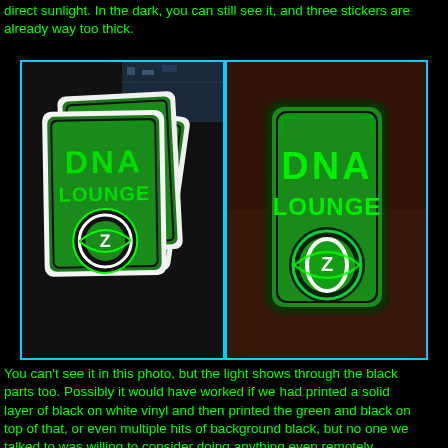direct sunlight. In the dark, you can still see it, and three stickers are already way too thick.
[Figure (photo): Two photos side by side with cyan borders. Left photo: a stack of DNA Lounge green and black stickers on a dark surface, with some circuit board visible in background. Right photo: A single DNA Lounge sticker glowing green on a dark brown/red surface.]
You can't see it in this photo, but the light shows through the black parts too. Possibly it would have worked if we had printed a solid layer of black on white vinyl and then printed the green and black on top of that, or even multiple hits of background black, but no one we talked to was willing to consider doing anything even remotely complicated or creative.
Possibly it would have worked with die-cut black vinyl instead of